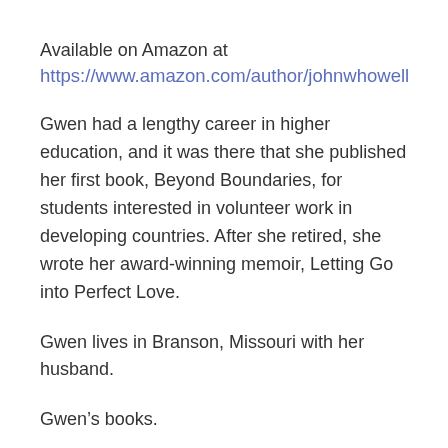Available on Amazon at
https://www.amazon.com/author/johnwhowell
Gwen had a lengthy career in higher education, and it was there that she published her first book, Beyond Boundaries, for students interested in volunteer work in developing countries. After she retired, she wrote her award-winning memoir, Letting Go into Perfect Love.
Gwen lives in Branson, Missouri with her husband.
Gwen’s books.